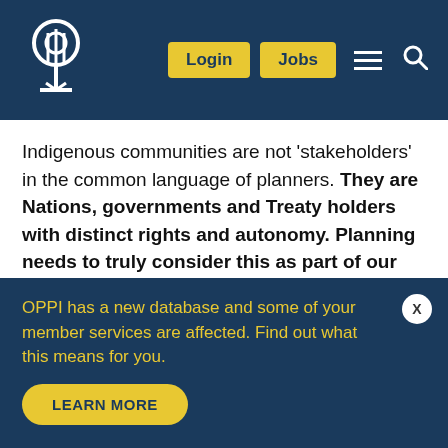OPPI website header with logo, Login button, Jobs button, hamburger menu, and search icon
Indigenous communities are not 'stakeholders' in the common language of planners. They are Nations, governments and Treaty holders with distinct rights and autonomy. Planning needs to truly consider this as part of our processes and as a profession.
We are all Treaty People, but many of us do not
OPPI has a new database and some of your member services are affected. Find out what this means for you.
LEARN MORE